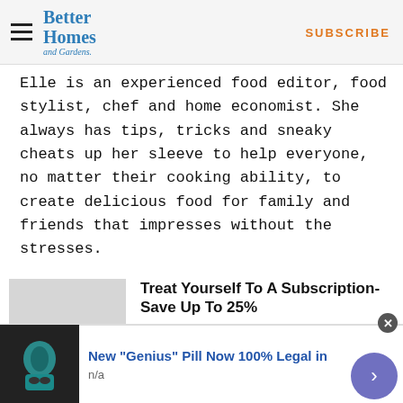Better Homes and Gardens — SUBSCRIBE
Elle is an experienced food editor, food stylist, chef and home economist. She always has tips, tricks and sneaky cheats up her sleeve to help everyone, no matter their cooking ability, to create delicious food for family and friends that impresses without the stresses.
[Figure (illustration): Subscription promotion block with grey placeholder image, heading 'Treat Yourself To A Subscription- Save Up To 25%', subtext 'Plus, your chance to win', and a blue 'SUBSCRIBE NOW' button]
[Figure (photo): Bottom advertisement bar: small image of a person, headline 'New Genius Pill Now 100% Legal in', source label 'n/a', with close and arrow navigation buttons]